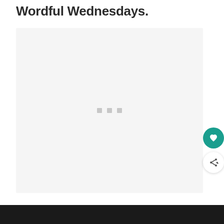Wordful Wednesdays.
[Figure (photo): Image loading placeholder with three small grey squares centered in a large light grey rectangular area]